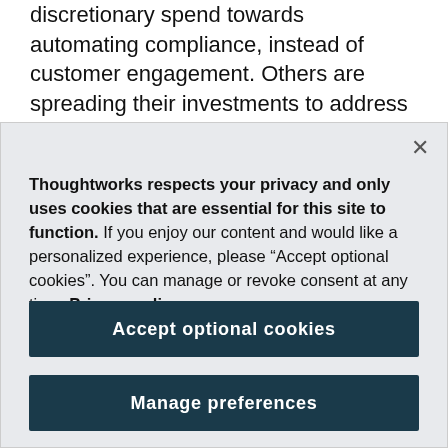discretionary spend towards automating compliance, instead of customer engagement. Others are spreading their investments to address many of the strategic forces simultaneously: unfortunately thin, [continues...]
Thoughtworks respects your privacy and only uses cookies that are essential for this site to function. If you enjoy our content and would like a personalized experience, please “Accept optional cookies”. You can manage or revoke consent at any time. Privacy policy
Accept optional cookies
Manage preferences